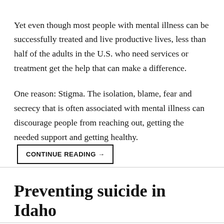Yet even though most people with mental illness can be successfully treated and live productive lives, less than half of the adults in the U.S. who need services or treatment get the help that can make a difference.
One reason: Stigma. The isolation, blame, fear and secrecy that is often associated with mental illness can discourage people from reaching out, getting the needed support and getting healthy. CONTINUE READING →
Preventing suicide in Idaho